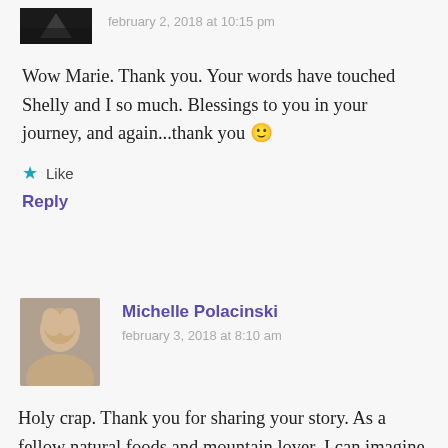[Figure (photo): Dark avatar image of commenter at top]
february 2, 2018 at 10:15 pm
Wow Marie. Thank you. Your words have touched Shelly and I so much. Blessings to you in your journey, and again...thank you 🙂
★ Like
Reply
[Figure (photo): Profile photo of Michelle Polacinski, blonde woman smiling]
Michelle Polacinski
february 3, 2018 at 8:10 am
Holy crap. Thank you for sharing your story. As a fellow natural foods and mountain lover, I can imagine myself in this scenario and boy, is it terrifying. My father makes his own apple wine